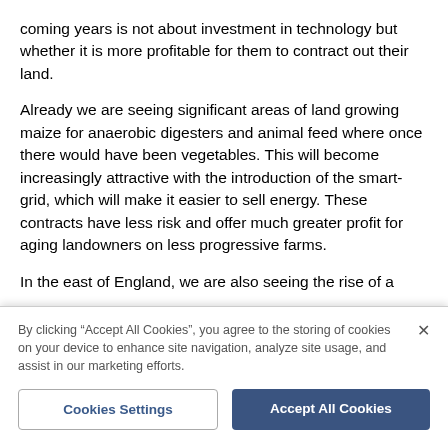coming years is not about investment in technology but whether it is more profitable for them to contract out their land.
Already we are seeing significant areas of land growing maize for anaerobic digesters and animal feed where once there would have been vegetables. This will become increasingly attractive with the introduction of the smart-grid, which will make it easier to sell energy. These contracts have less risk and offer much greater profit for aging landowners on less progressive farms.
In the east of England, we are also seeing the rise of a
By clicking “Accept All Cookies”, you agree to the storing of cookies on your device to enhance site navigation, analyze site usage, and assist in our marketing efforts.